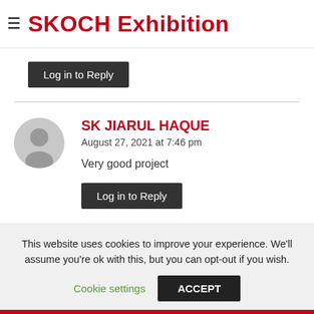≡ SKOCH Exhibition
Log in to Reply
SK JIARUL HAQUE
August 27, 2021 at 7:46 pm
Very good project
Log in to Reply
This website uses cookies to improve your experience. We'll assume you're ok with this, but you can opt-out if you wish.
Cookie settings  ACCEPT